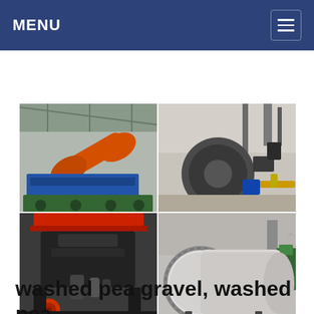MENU
[Figure (photo): A 2x2 grid of four industrial machine photos: top-left shows orange conveyor/drum equipment inside a factory; top-right shows a large industrial fan/blower with ducting and yellow pipes outdoors; bottom-left shows a large black cone crusher machine; bottom-right shows a large horizontal ball mill/grinding cylinder machine.]
washed pea gravel, washed pea